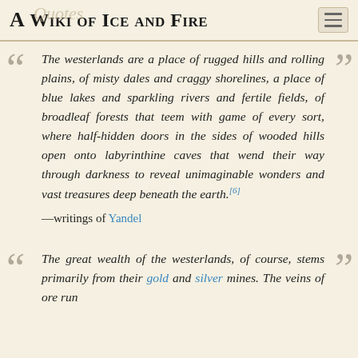A Wiki of Ice and Fire
The westerlands are a place of rugged hills and rolling plains, of misty dales and craggy shorelines, a place of blue lakes and sparkling rivers and fertile fields, of broadleaf forests that teem with game of every sort, where half-hidden doors in the sides of wooded hills open onto labyrinthine caves that wend their way through darkness to reveal unimaginable wonders and vast treasures deep beneath the earth.[6]
—writings of Yandel
The great wealth of the westerlands, of course, stems primarily from their gold and silver mines. The veins of ore run